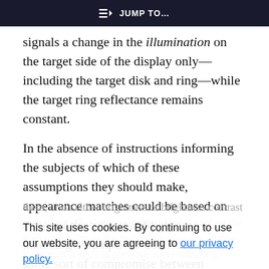JUMP TO...
signals a change in the illumination on the target side of the display only—including the target disk and ring—while the target ring reflectance remains constant.
In the absence of instructions informing the subjects of which of these assumptions they should make, appearance matches could be based on either of the two sets of lightness matching assumptions described, or on some sort of compromise between
them, or on either brightness or brightness contrast judgments. This ambiguity likely helps explain the high variability in the matches made with double-increment stimuli in previous naive matching studies